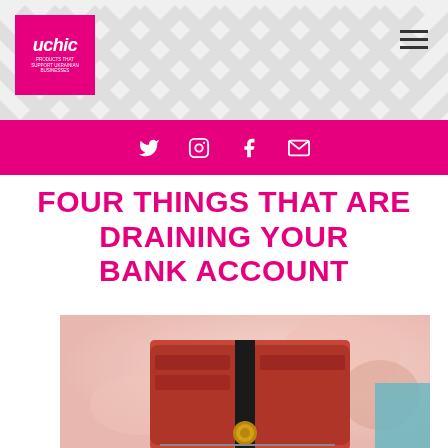[Figure (logo): uchic logo - white text on magenta/pink square background, italic font, with small subtitle text]
[Figure (other): Hamburger menu icon (three horizontal lines) in top right corner]
[Figure (other): Pink/magenta social media bar with Twitter bird, Instagram camera, Facebook f, and envelope/email icons in white]
FOUR THINGS THAT ARE DRAINING YOUR BANK ACCOUNT
[Figure (photo): Close-up photo of an open orange/red zipper wallet against a blurred pink background]